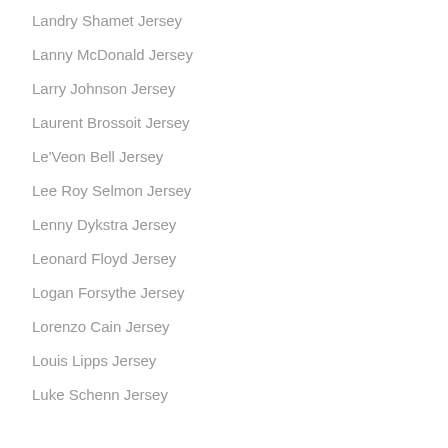Landry Shamet Jersey
Lanny McDonald Jersey
Larry Johnson Jersey
Laurent Brossoit Jersey
Le'Veon Bell Jersey
Lee Roy Selmon Jersey
Lenny Dykstra Jersey
Leonard Floyd Jersey
Logan Forsythe Jersey
Lorenzo Cain Jersey
Louis Lipps Jersey
Luke Schenn Jersey